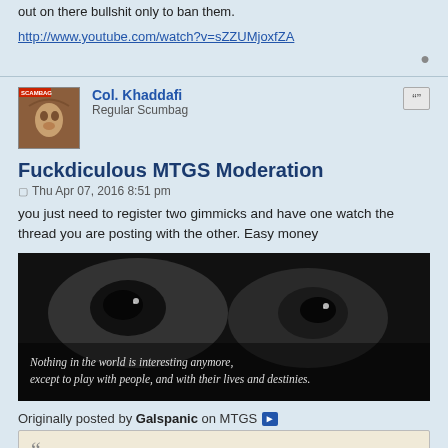out on there bullshit only to ban them.
http://www.youtube.com/watch?v=sZZUMjoxfZA
Col. Khaddafi
Regular Scumbag
Fuckdiculous MTGS Moderation
Thu Apr 07, 2016 8:51 pm
you just need to register two gimmicks and have one watch the thread you are posting with the other. Easy money
[Figure (photo): Black and white close-up photo of eyes (possibly an animal or person), with italic text overlay reading: 'Nothing in the world is interesting anymore, except to play with people, and with their lives and destinies.']
Originally posted by Galspanic on MTGS
I would still like to see the posts sent over to ( N_S ) and have the Salvation Gutter archived away and replaced with a link to MTGC.